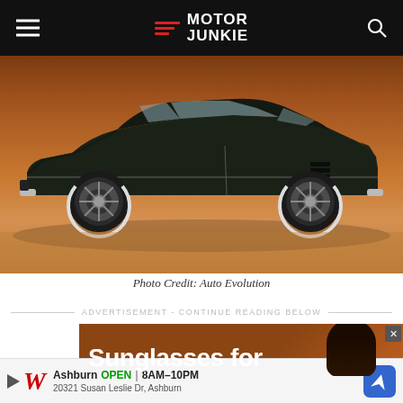Motor Junkie
[Figure (photo): Side profile of a dark green/black classic muscle car (open-top convertible) on a warm brown studio background]
Photo Credit: Auto Evolution
ADVERTISEMENT - CONTINUE READING BELOW
[Figure (screenshot): Advertisement banner showing 'Sunglasses for' text on brown/orange background with a person visible]
Advertisement
[Figure (screenshot): Walgreens local ad: Ashburn OPEN 8AM-10PM, 20321 Susan Leslie Dr, Ashburn, with navigation arrow icon]